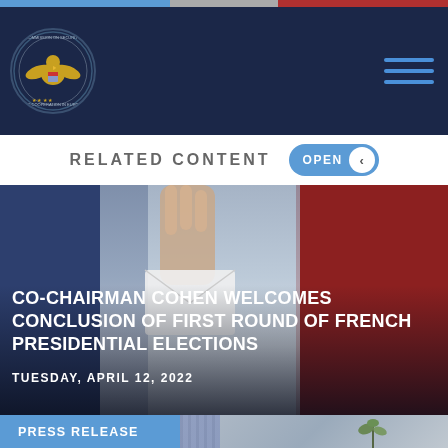[Figure (logo): Commission on Security and Cooperation in Europe seal/logo — gold eagle emblem on dark navy circular badge]
RELATED CONTENT
[Figure (photo): A hand inserting a ballot envelope into a ballot box, with French tricolor flag colors (blue, white, red) visible in the background]
CO-CHAIRMAN COHEN WELCOMES CONCLUSION OF FIRST ROUND OF FRENCH PRESIDENTIAL ELECTIONS
TUESDAY, APRIL 12, 2022
PRESS RELEASE
[Figure (photo): Partial background image showing indoor scene with decorative wallpaper and a plant]